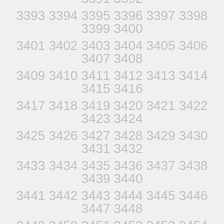3369 3370 3371 3372 3373 3374 3375 3376
3377 3378 3379 3380 3381 3382 3383 3384
3385 3386 3387 3388 3389 3390 3391 3392
3393 3394 3395 3396 3397 3398 3399 3400
3401 3402 3403 3404 3405 3406 3407 3408
3409 3410 3411 3412 3413 3414 3415 3416
3417 3418 3419 3420 3421 3422 3423 3424
3425 3426 3427 3428 3429 3430 3431 3432
3433 3434 3435 3436 3437 3438 3439 3440
3441 3442 3443 3444 3445 3446 3447 3448
3449 3450 3451 3452 3453 3454 3455 3456
3457 3458 3459 3460 3461 3462 3463 3464
3465 3466 3467 3468 3469 3470 3471 3472